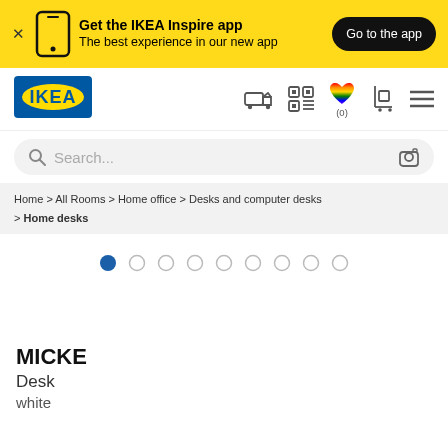[Figure (screenshot): Yellow IKEA app promotion banner with phone icon, text 'Get the IKEA Inspire app - The best experience in our new app', and black 'Go to the app' button]
[Figure (logo): IKEA blue and yellow logo]
[Figure (screenshot): IKEA navigation icons: delivery truck, QR code, rainbow heart with (0), cart, hamburger menu]
[Figure (screenshot): Search bar with magnifying glass icon and camera icon]
Home > All Rooms > Home office > Desks and computer desks > Home desks
[Figure (screenshot): Carousel navigation dots: first dot filled/active (blue), remaining 8 dots empty (grey)]
MICKE
Desk
white